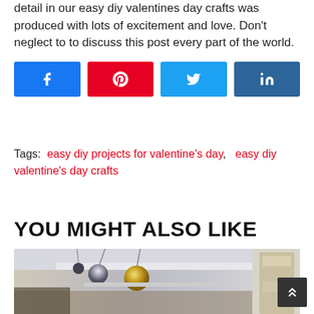detail in our easy diy valentines day crafts was produced with lots of excitement and love. Don't neglect to to discuss this post every part of the world.
[Figure (infographic): Four social share buttons: Facebook (blue), Pinterest (red), Twitter (light blue), LinkedIn (dark blue), each with respective icons]
Tags:  easy diy projects for valentine's day,   easy diy valentine's day crafts
YOU MIGHT ALSO LIKE
[Figure (photo): Interior room photo showing ceiling with decorative metallic ball pendant lights (silver and gold) and room interior below]